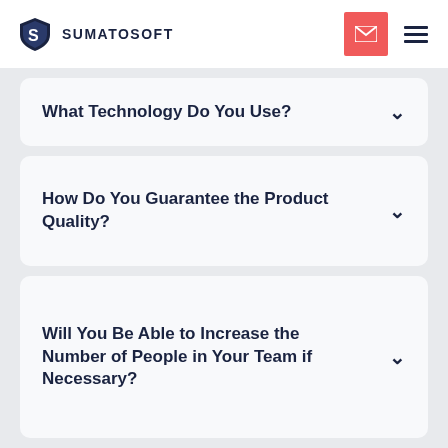SUMATOSOFT
What Technology Do You Use?
How Do You Guarantee the Product Quality?
Will You Be Able to Increase the Number of People in Your Team if Necessary?